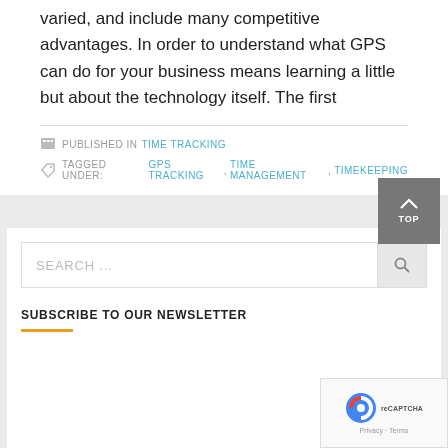varied, and include many competitive advantages. In order to understand what GPS can do for your business means learning a little but about the technology itself. The first
PUBLISHED IN TIME TRACKING
TAGGED UNDER: GPS TRACKING, TIME MANAGEMENT, TIMEKEEPING
SEARCH ...
SUBSCRIBE TO OUR NEWSLETTER